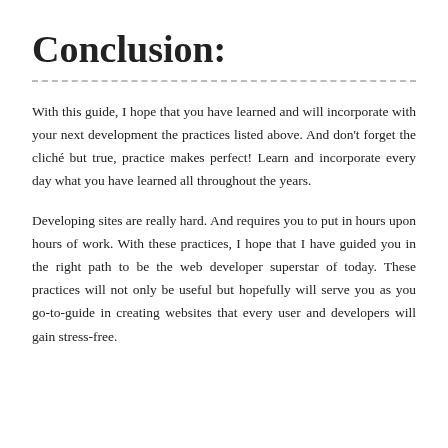Conclusion:
With this guide, I hope that you have learned and will incorporate with your next development the practices listed above. And don't forget the cliché but true, practice makes perfect! Learn and incorporate every day what you have learned all throughout the years.
Developing sites are really hard. And requires you to put in hours upon hours of work. With these practices, I hope that I have guided you in the right path to be the web developer superstar of today. These practices will not only be useful but hopefully will serve you as you go-to-guide in creating websites that every user and developers will gain stress-free.